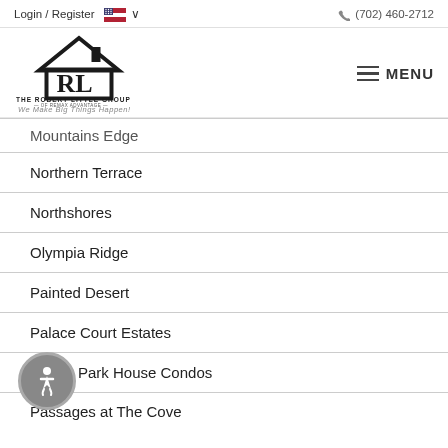Login / Register   🇺🇸 ∨      (702) 460-2712
[Figure (logo): The Robert Little Group of Remax Advantage logo with house icon and text 'We Make Big Things Happen!']
Mountains Edge
Northern Terrace
Northshores
Olympia Ridge
Painted Desert
Palace Court Estates
Park House Condos
Passages at The Cove